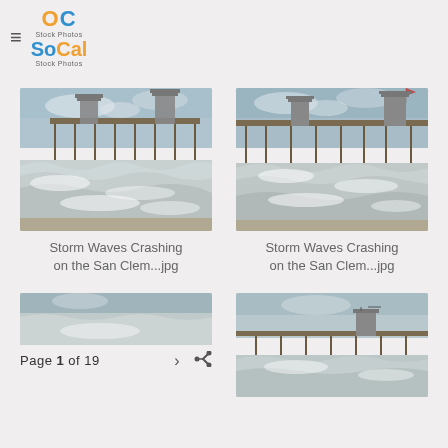OC Stock Photos / SoCal Stock Photos navigation header with hamburger menu and logo
[Figure (photo): Storm waves crashing on the San Clemente pier, left photo]
Storm Waves Crashing on the San Clem...jpg
[Figure (photo): Storm waves crashing on the San Clemente pier, right photo]
Storm Waves Crashing on the San Clem...jpg
[Figure (photo): Partial photo of storm waves and pier, bottom left (truncated)]
Page 1 of 19
[Figure (photo): Partial photo of storm waves and pier, bottom right (truncated)]